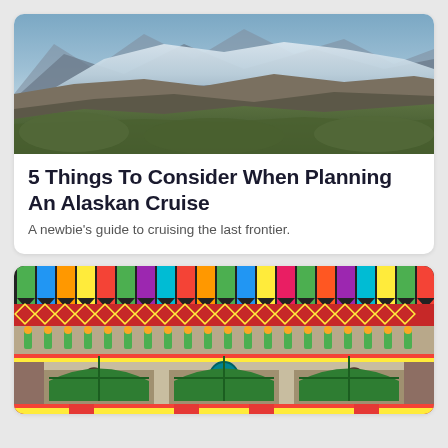[Figure (photo): Glacier and mountain landscape with snow-capped peaks, rocky terrain, and green vegetation in foreground]
5 Things To Consider When Planning An Alaskan Cruise
A newbie's guide to cruising the last frontier.
[Figure (photo): Colorful decorative building facade with rainbow-colored vertical banners, ornate geometric patterns, arched windows with green panes, and vibrant multi-colored architectural details]